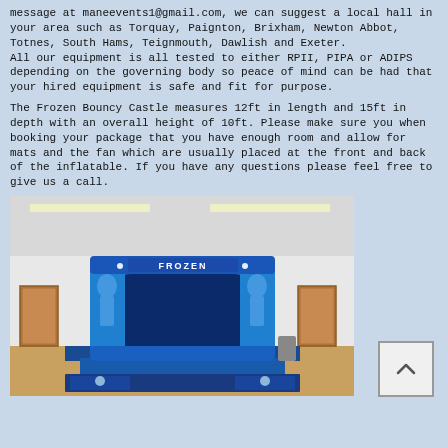message at maneevents1@gmail.com, we can suggest a local hall in your area such as Torquay, Paignton, Brixham, Newton Abbot, Totnes, South Hams, Teignmouth, Dawlish and Exeter. All our equipment is all tested to either RPII, PIPA or ADIPS depending on the governing body so peace of mind can be had that your hired equipment is safe and fit for purpose.
The Frozen Bouncy Castle measures 12ft in length and 15ft in depth with an overall height of 10ft. Please make sure you when booking your package that you have enough room and allow for mats and the fan which are usually placed at the front and back of the inflatable. If you have any questions please feel free to give us a call.
[Figure (photo): A blue Frozen-themed bouncy castle inflatable set up inside a hall with wooden flooring. The castle has 'FROZEN' written on the front arch and features Frozen movie characters on the sides. Blue safety mats are placed at the front.]